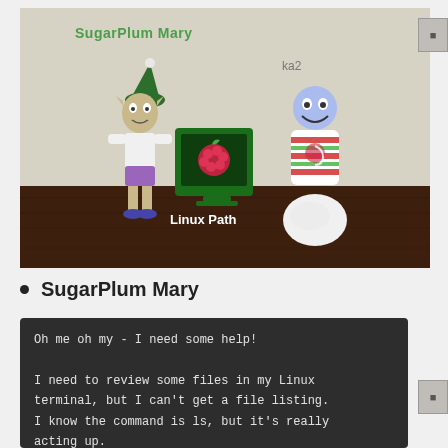[Figure (screenshot): A game screenshot showing a fantasy scene with an elf character labeled 'SugarPlum Mary', a Raspberry Pi terminal object labeled 'Linux Path', and a snowman-like flower character labeled 'ka2', set in a room with a wooden floor and beige walls.]
SugarPlum Mary
Oh me oh my - I need some help!

I need to review some files in my Linux terminal, but I can't get a file listing.

I know the command is ls, but it's really acting up.